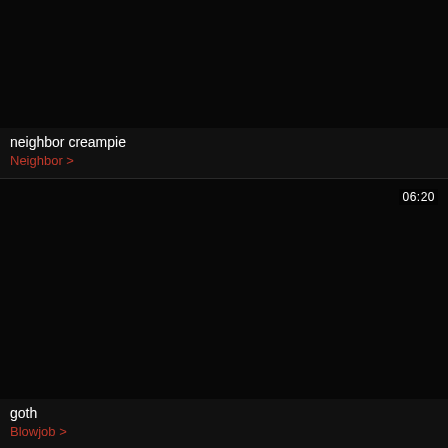[Figure (screenshot): Dark video thumbnail, top card]
neighbor creampie
Neighbor >
[Figure (screenshot): Dark video thumbnail, bottom card with duration 06:20]
goth
Blowjob >